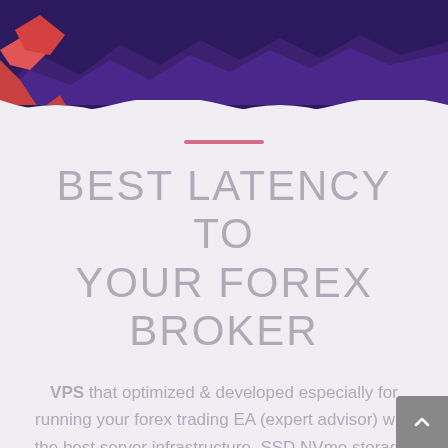[Figure (illustration): Illustrated landscape with purple mountains, red rock formations, and a wavy white foreground divider on a dark purple sky background.]
BEST LATENCY TO YOUR FOREX BROKER
VPS that optimized & developed especially for running your forex trading EA (expert advisor) with the best server infrastructure, SSD NVme storage, internet bandwidth up to 1 Gbps, and 99.9% uptime